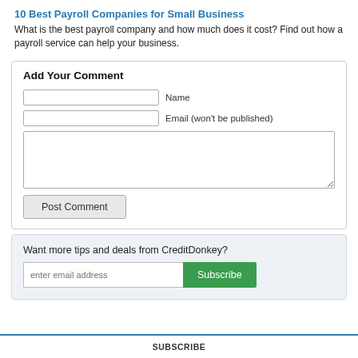10 Best Payroll Companies for Small Business
What is the best payroll company and how much does it cost? Find out how a payroll service can help your business.
Add Your Comment
Name
Email (won't be published)
Post Comment
Want more tips and deals from CreditDonkey?
enter email address
Subscribe
SUBSCRIBE